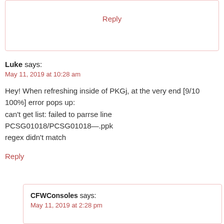Reply
Luke says:
May 11, 2019 at 10:28 am
Hey! When refreshing inside of PKGj, at the very end [9/10 100%] error pops up:
can't get list: failed to parrse line
PCSG01018/PCSG01018—.ppk
regex didn't match
Reply
CFWConsoles says:
May 11, 2019 at 2:28 pm